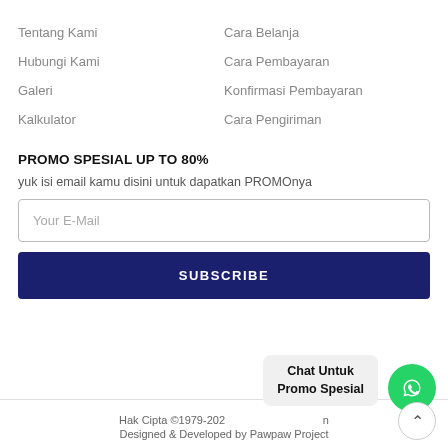Tentang Kami
Hubungi Kami
Galeri
Kalkulator
Cara Belanja
Cara Pembayaran
Konfirmasi Pembayaran
Cara Pengiriman
PROMO SPESIAL UP TO 80%
yuk isi email kamu disini untuk dapatkan PROMOnya
Your E-Mail
SUBSCRIBE
Hak Cipta ©1979-202  n
Designed & Developed by Pawpaw Project
Chat Untuk
Promo Spesial